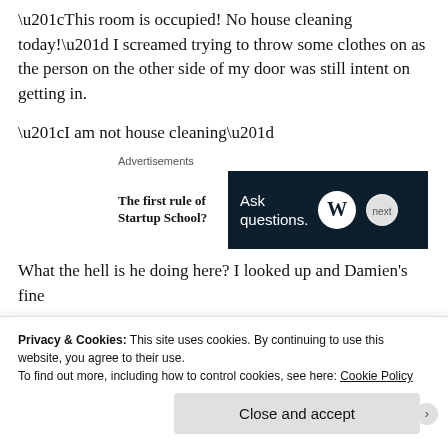“This room is occupied! No house cleaning today!” I screamed trying to throw some clothes on as the person on the other side of my door was still intent on getting in.
“I am not house cleaning”
[Figure (other): Advertisement banner: left side text reads 'The first rule of Startup School?' and right side dark banner reads 'Ask questions.' with WordPress logo and a small circular logo]
What the hell is he doing here? I looked up and Damien’s fine a… [text continues]
Privacy & Cookies: This site uses cookies. By continuing to use this website, you agree to their use.
To find out more, including how to control cookies, see here: Cookie Policy
Close and accept